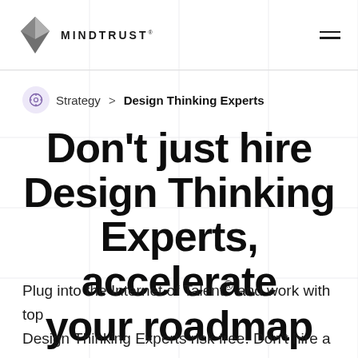MINDTRUST
Strategy > Design Thinking Experts
Don’t just hire Design Thinking Experts, accelerate your roadmap
Plug into the Internet of Talent® and work with top Design Thinking Experts risk free. Don’t hire a